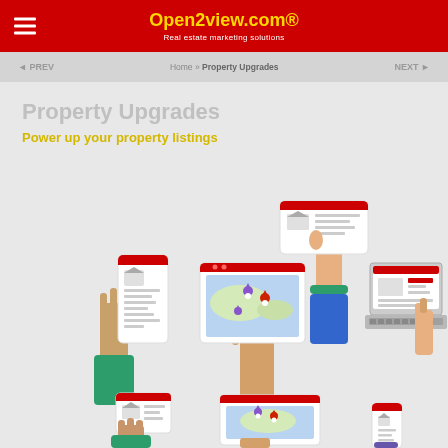Open2view.com® — Real estate marketing solutions
PREV  Home » Property Upgrades  NEXT
Property Upgrades
Power up your property listings
[Figure (illustration): Illustration of multiple hands holding various devices (smartphone, tablet, laptop) displaying real estate property listings with maps and property photos, representing multi-device real estate marketing.]